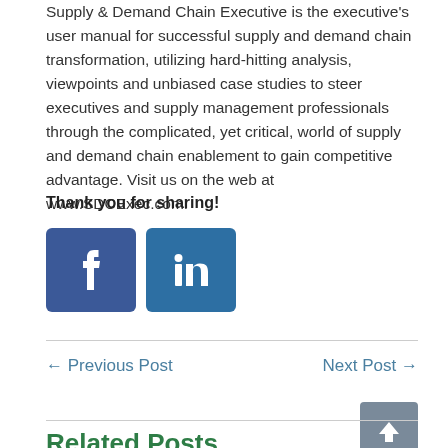Supply & Demand Chain Executive is the executive's user manual for successful supply and demand chain transformation, utilizing hard-hitting analysis, viewpoints and unbiased case studies to steer executives and supply management professionals through the complicated, yet critical, world of supply and demand chain enablement to gain competitive advantage. Visit us on the web at www.SDCExec.com.
Thank you for sharing!
[Figure (other): Facebook and LinkedIn social sharing buttons]
← Previous Post
Next Post →
[Figure (other): Back to top button (gray square with upward arrow)]
Related Posts